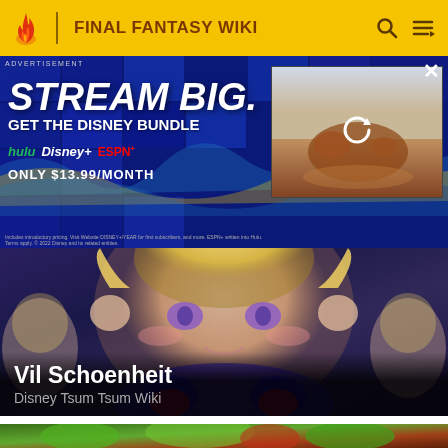FINAL FANTASY WIKI
[Figure (screenshot): Advertisement banner for Disney Bundle — STREAM BIG. GET THE DISNEY BUNDLE. Hulu, Disney+, ESPN+. ONLY $13.99/MONTH. With a video preview panel on the right showing a loading/refresh icon.]
[Figure (photo): Chibi character (Vil Schoenheit) from Disney Tsum Tsum Wiki — large-headed cartoon character with blond hair and purple eyes against a blurred background.]
Vil Schoenheit
Disney Tsum Tsum Wiki
[Figure (photo): Partial preview of a second card showing a blurred green/red outdoor scene.]